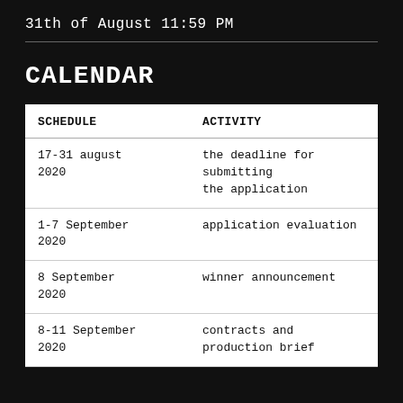31th of August 11:59 PM
CALENDAR
| SCHEDULE | ACTIVITY |
| --- | --- |
| 17-31 august 2020 | the deadline for submitting the application |
| 1-7 September 2020 | application evaluation |
| 8 September 2020 | winner announcement |
| 8-11 September 2020 | contracts and production brief |